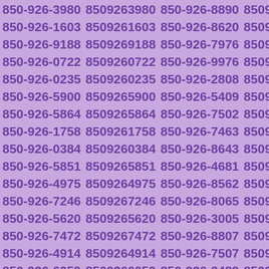850-926-3980 8509263980 850-926-8890 8509268890 850-926-1603 8509261603 850-926-8620 8509268620 850-926-9188 8509269188 850-926-7976 8509267976 850-926-0722 8509260722 850-926-9976 8509269976 850-926-0235 8509260235 850-926-2808 8509262808 850-926-5900 8509265900 850-926-5409 8509265409 850-926-5864 8509265864 850-926-7502 8509267502 850-926-1758 8509261758 850-926-7463 8509267463 850-926-0384 8509260384 850-926-8643 8509268643 850-926-5851 8509265851 850-926-4681 8509264681 850-926-4975 8509264975 850-926-8562 8509268562 850-926-7246 8509267246 850-926-8065 8509268065 850-926-5620 8509265620 850-926-3005 8509263005 850-926-7472 8509267472 850-926-8807 8509268807 850-926-4914 8509264914 850-926-7507 8509267507 850-926-6059 8509266059 850-926-3489 8509263489 850-926-0024 8509260024 850-926-0866 8509260866 850-926-3139 8509263139 850-926-8007 8509268007 850-926-8662 8509268662 850-926-8114 8509268114 850-926-7746 8509267746 850-926-8315 8509268315 850-926-3267 8509263267 850-926-7399 8509267399